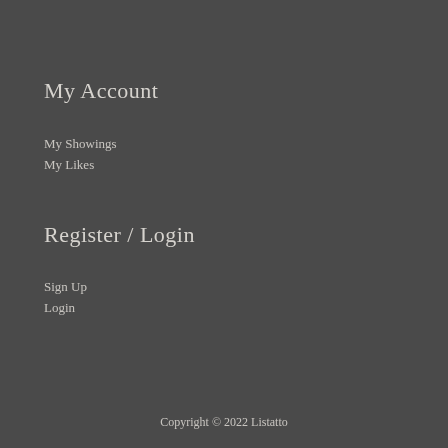My Account
My Showings
My Likes
Register / Login
Sign Up
Login
Copyright © 2022 Listatto